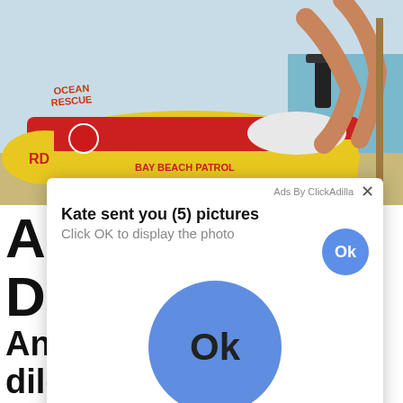[Figure (photo): A person in swimwear on a yellow and red jet ski labeled 'BAY BEACH PATROL' and 'LIFEGUARD', at a beach.]
As
De
Ba
[Figure (screenshot): An ad popup overlay from ClickAdilla. Title: 'Kate sent you (5) pictures'. Subtitle: 'Click OK to display the photo'. Contains a small Ok button (blue circle, top right) and a large Ok blue circle button in the center. Bottom right shows 'cgo' label.]
And cheeblonde brutal dildo